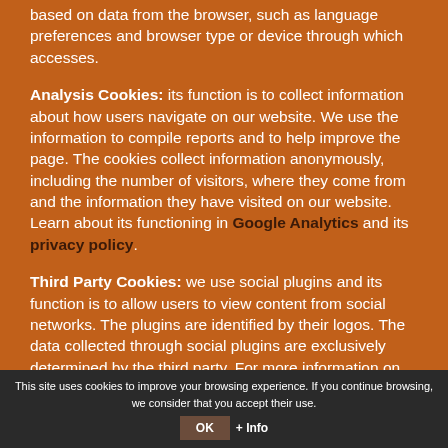based on data from the browser, such as language preferences and browser type or device through which accesses.
Analysis Cookies: its function is to collect information about how users navigate on our website. We use the information to compile reports and to help improve the page. The cookies collect information anonymously, including the number of visitors, where they come from and the information they have visited on our website. Learn about its functioning in Google Analytics and its privacy policy.
Third Party Cookies: we use social plugins and its function is to allow users to view content from social networks. The plugins are identified by their logos. The data collected through social plugins are exclusively determined by the third party. For more information on these cookies or know what data is collected refer to the privacy policy of each social network: YouTube and SoundCloud.
This site uses cookies to improve your browsing experience. If you continue browsing, we consider that you accept their use. OK + Info